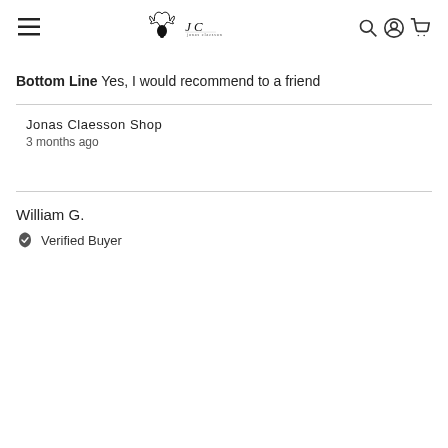Jonas Claesson Shop logo and navigation
Bottom Line  Yes, I would recommend to a friend
Jonas Claesson Shop
3 months ago
William G.
Verified Buyer